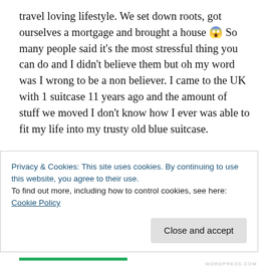travel loving lifestyle. We set down roots, got ourselves a mortgage and brought a house 😱 So many people said it's the most stressful thing you can do and I didn't believe them but oh my word was I wrong to be a non believer. I came to the UK with 1 suitcase 11 years ago and the amount of stuff we moved I don't know how I ever was able to fit my life into my trusty old blue suitcase.
Secondly we had to move house on a deadline as we were off to Fiji to watch my baby sister and her hubby get married and have a family holiday for
Privacy & Cookies: This site uses cookies. By continuing to use this website, you agree to their use.
To find out more, including how to control cookies, see here: Cookie Policy
Close and accept